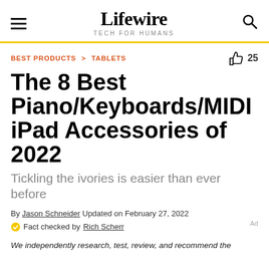Lifewire TECH FOR HUMANS
BEST PRODUCTS > TABLETS
The 8 Best Piano/Keyboards/MIDI iPad Accessories of 2022
Tickling the ivories is easier than ever before
By Jason Schneider Updated on February 27, 2022
Fact checked by Rich Scherr
We independently research, test, review, and recommend the